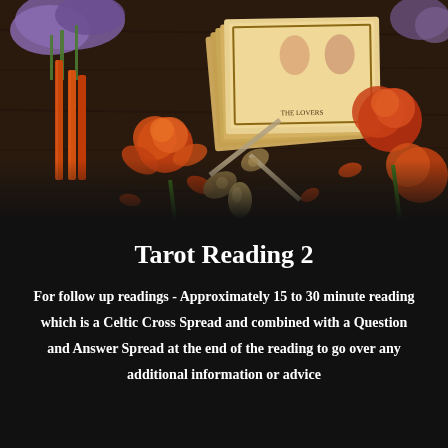[Figure (photo): A dark wooden table top with tarot cards (deck visible with 'The Lovers' card on top), orange roses and petals, dried lavender flowers, red/orange candles, decorative scissors or ritual knife, and other mystical items arranged decoratively.]
Tarot Reading 2
For follow up readings - Approximately 15 to 30 minute reading which is a Celtic Cross Spread and combined with a Question and Answer Spread at the end of the reading to go over any additional information or advice